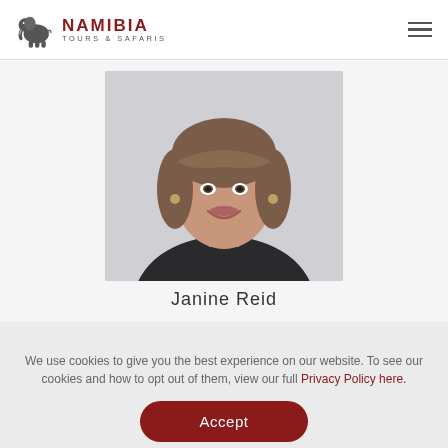Namibia Tours & Safaris
[Figure (photo): Professional headshot of Janine Reid, a woman with brown hair wearing a black blazer, smiling at the camera against a light grey background.]
Janine Reid
We use cookies to give you the best experience on our website. To see our cookies and how to opt out of them, view our full Privacy Policy here.